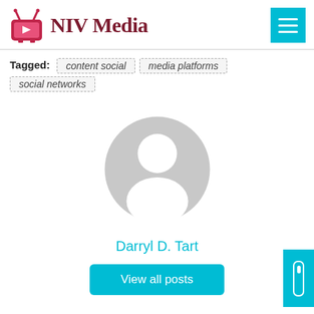[Figure (logo): NIV Media logo with pink/red TV icon and dark red serif text]
[Figure (other): Cyan hamburger menu button (three horizontal white lines on cyan background)]
Tagged: content social   media platforms   social networks
[Figure (photo): Default grey avatar/profile placeholder icon (circular silhouette of a person)]
Darryl D. Tart
View all posts